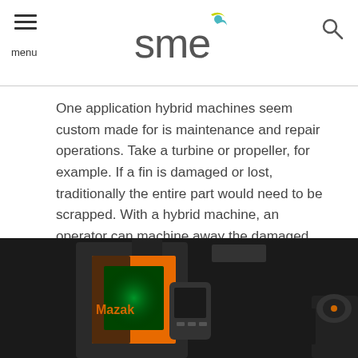SME — menu / logo / search
One application hybrid machines seem custom made for is maintenance and repair operations. Take a turbine or propeller, for example. If a fin is damaged or lost, traditionally the entire part would need to be scrapped. With a hybrid machine, an operator can machine away the damaged area with CNC machining, build a new fin on the existing part additively, and CNC machine it to final specifications—all in one machine.
[Figure (photo): Mazak hybrid CNC machine with orange interior panels and a handheld controller, shown from an angle with a secondary unit on the right side.]